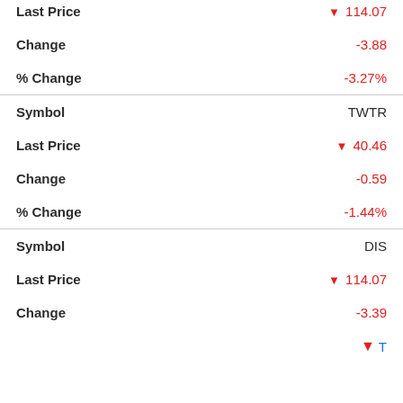| Field | Value |
| --- | --- |
| Last Price | ▼ 114.07 |
| Change | -3.88 |
| % Change | -3.27% |
| Symbol | TWTR |
| Last Price | ▼ 40.46 |
| Change | -0.59 |
| % Change | -1.44% |
| Symbol | DIS |
| Last Price | ▼ 114.07 |
| Change | -3.39 |